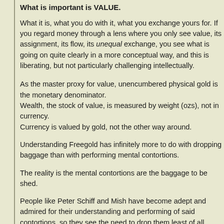What is important is VALUE.
What it is, what you do with it, what you exchange yours for. If you regard money through a lens where you only see value, its assignment, its flow, its unequal exchange, you see what is going on quite clearly in a more conceptual way, and this is liberating, but not particularly challenging intellectually.
As the master proxy for value, unencumbered physical gold is the monetary denominator.
Wealth, the stock of value, is measured by weight (ozs), not in currency.
Currency is valued by gold, not the other way around.
Understanding Freegold has infinitely more to do with dropping baggage than with performing mental contortions.
The reality is the mental contortions are the baggage to be shed.
People like Peter Schiff and Mish have become adept and admired for their understanding and performing of said contortions, so they see the need to drop them least of all.
"Dismissing the student as being at fault for not understanding